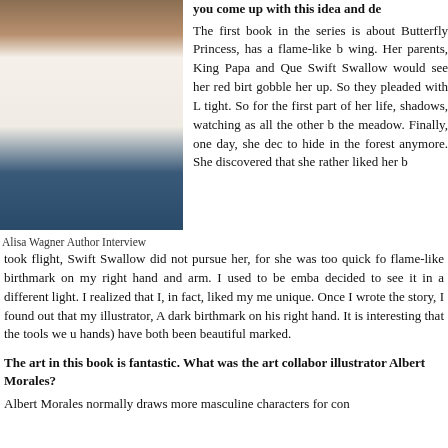[Figure (photo): Portrait photo of Alisa Wagner, a woman with long dark brown hair wearing a white blouse, seated against a green background]
Alisa Wagner Author Interview
The first book in the series is about Butterfly Princess, has a flame-like b wing. Her parents, King Papa and Que Swift Swallow would see her red birt gobble her up. So they pleaded with L tight. So for the first part of her life, shadows, watching as all the other b the meadow. Finally, one day, she dec to hide in the forest anymore. She discovered that she rather liked her b took flight, Swift Swallow did not pursue her, for she was too quick fo flame-like birthmark on my right hand and arm. I used to be emba decided to see it in a different light. I realized that I, in fact, liked my me unique. Once I wrote the story, I found out that my illustrator, A dark birthmark on his right hand. It is interesting that the tools we u hands) have both been beautiful marked.
The art in this book is fantastic. What was the art collabor illustrator Albert Morales?
Albert Morales normally draws more masculine characters for con